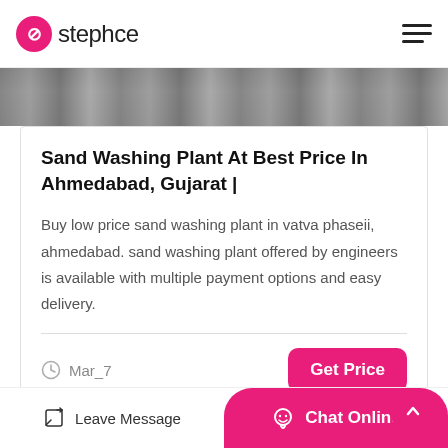stephce
[Figure (photo): Partial image strip showing a sand washing plant or machinery, dark/gray tones]
Sand Washing Plant At Best Price In Ahmedabad, Gujarat |
Buy low price sand washing plant in vatva phaseii, ahmedabad. sand washing plant offered by engineers is available with multiple payment options and easy delivery.
Mar_7
Get Price
Leave Message   Chat Online